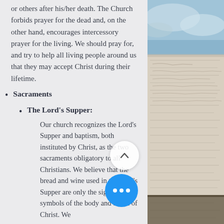or others after his/her death. The Church forbids prayer for the dead and, on the other hand, encourages intercessory prayer for the living. We should pray for, and try to help all living people around us that they may accept Christ during their lifetime.
Sacraments
The Lord's Supper:
Our church recognizes the Lord's Supper and baptism, both instituted by Christ, as the two sacraments obligatory to all Christians. We believe that the bread and wine used in the Lord's Supper are only the signs and symbols of the body and blood of Christ. We
[Figure (photo): Background image of an open Bible with handwritten text, partially visible on the right side of the page. Blue sky visible at top right.]